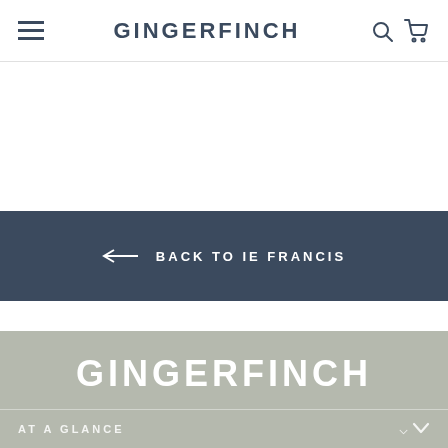GINGERFINCH
← BACK TO IE FRANCIS
GINGERFINCH
AT A GLANCE
INFO